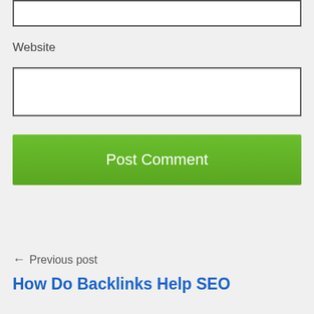[Figure (screenshot): Top portion of a form input field (white box with dark border), partially cropped at the top of the page]
Website
[Figure (screenshot): Website text input field — white rectangle with dark border]
[Figure (screenshot): Green 'Post Comment' submit button]
← Previous post
How Do Backlinks Help SEO